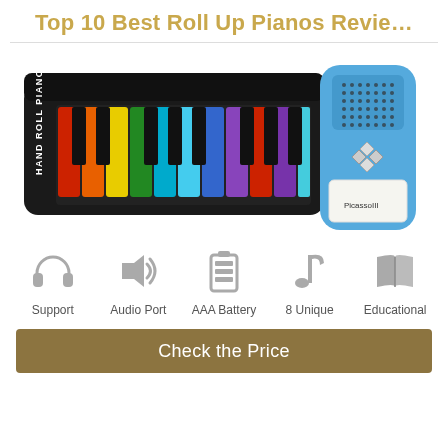Top 10 Best Roll Up Pianos Revie…
[Figure (photo): Colorful hand roll piano keyboard with rainbow-colored keys and a blue electronic control unit on the right side with speaker and Picasso branding]
[Figure (infographic): Five feature icons in a row: headphones (Support), speaker (Audio Port), battery (AAA Battery), music note (8 Unique), open book (Educational)]
Check the Price